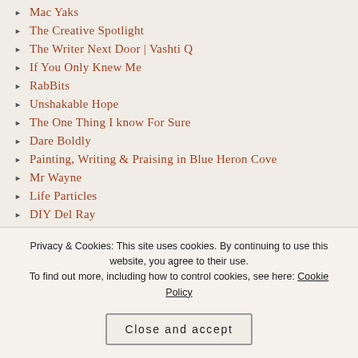Mac Yaks
The Creative Spotlight
The Writer Next Door | Vashti Q
If You Only Knew Me
RabBits
Unshakable Hope
The One Thing I know For Sure
Dare Boldly
Painting, Writing & Praising in Blue Heron Cove
Mr Wayne
Life Particles
DIY Del Ray
Privacy & Cookies: This site uses cookies. By continuing to use this website, you agree to their use. To find out more, including how to control cookies, see here: Cookie Policy
Close and accept